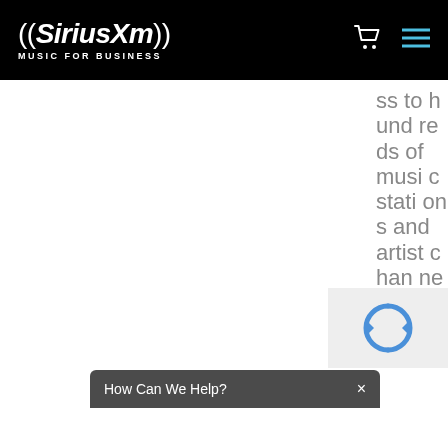SiriusXM MUSIC FOR BUSINESS
ss to hundreds of music stations and artist channels.
[Figure (screenshot): Scroll-to-top button with upward chevron arrow on grey background]
[Figure (screenshot): reCAPTCHA widget showing blue recycling-style arrows icon on light grey background]
How Can We Help?  ×